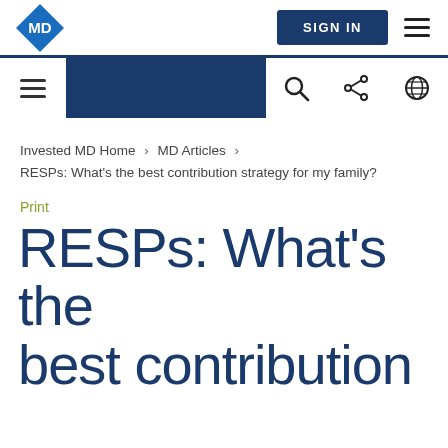MD | SIGN IN
Invested MD Home > MD Articles > RESPs: What's the best contribution strategy for my family?
Print
RESPs: What's the best contribution